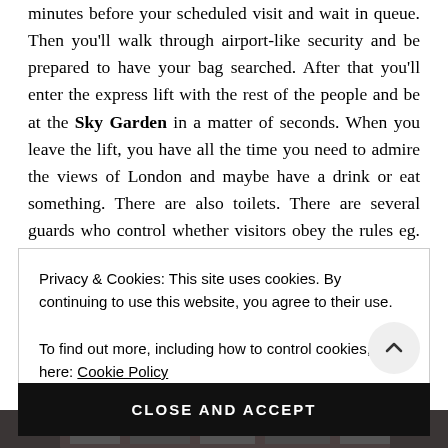minutes before your scheduled visit and wait in queue. Then you'll walk through airport-like security and be prepared to have your bag searched. After that you'll enter the express lift with the rest of the people and be at the Sky Garden in a matter of seconds. When you leave the lift, you have all the time you need to admire the views of London and maybe have a drink or eat something. There are also toilets. There are several guards who control whether visitors obey the rules eg. no food or drinks at the open air terrace and no selfie-
Privacy & Cookies: This site uses cookies. By continuing to use this website, you agree to their use.
To find out more, including how to control cookies, see here: Cookie Policy
CLOSE AND ACCEPT
[Figure (photo): Partial view of a photo strip at the bottom of the page showing a crowd scene, partially obscured by the cookie overlay.]